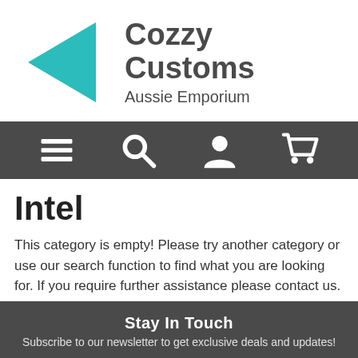[Figure (logo): Cozzy Customs Aussie Emporium logo: teal left-pointing triangle with company name in dark grey sans-serif text]
[Figure (infographic): Dark grey navigation bar with four white icons: hamburger menu, search magnifier, user silhouette, shopping cart]
Intel
This category is empty! Please try another category or use our search function to find what you are looking for. If you require further assistance please contact us.
Stay In Touch
Subscribe to our newsletter to get exclusive deals and updates!